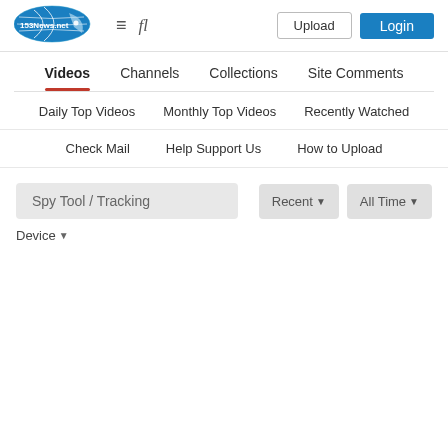[Figure (logo): 153News.net logo - blue oval with satellite dish graphic and text '153News.net']
Upload  Login
Videos  Channels  Collections  Site Comments
Daily Top Videos  Monthly Top Videos  Recently Watched
Check Mail  Help Support Us  How to Upload
Spy Tool / Tracking
Recent ▾  All Time ▾
Device ▾